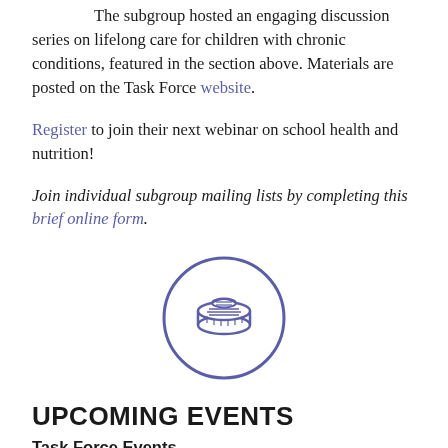The subgroup hosted an engaging discussion series on lifelong care for children with chronic conditions, featured in the section above. Materials are posted on the Task Force website.
Register to join their next webinar on school health and nutrition!
Join individual subgroup mailing lists by completing this brief online form.
[Figure (illustration): A rolled newspaper icon inside a circle, drawn in purple/indigo outline style.]
UPCOMING EVENTS
Task Force Events